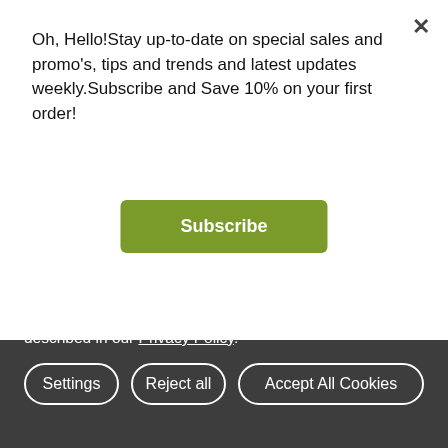Oh, Hello!Stay up-to-date on special sales and promo's, tips and trends and latest updates weekly.Subscribe and Save 10% on your first order!
Subscribe
Dimensional Letters and Logos
Gallery
Step and Repeat Assembly
Upload Files
Vinyl Banners
Fabric Banners
Window Signs
Banner Displays
We use cookies (and other similar technologies) to collect data to improve your shopping experience. By using our website, you're agreeing to the collection of data as described in our Privacy Policy.
Settings
Reject all
Accept All Cookies